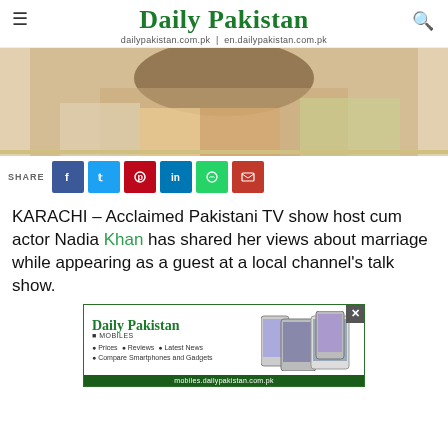Daily Pakistan
dailypakistan.com.pk | en.dailypakistan.com.pk
[Figure (photo): Cropped photo of a woman with long brown hair wearing a yellow and colorful outfit, resting her hands on a surface]
SHARE [Facebook] [Twitter] [Pinterest] [LinkedIn] [WhatsApp] [Email]
KARACHI – Acclaimed Pakistani TV show host cum actor Nadia Khan has shared her views about marriage while appearing as a guest at a local channel's talk show.
[Figure (screenshot): Advertisement for Daily Pakistan Mobiles showing logo, bullet points: Prices, Reviews, Latest News, Compare Smartphones and Gadgets, and images of smartphones. Footer: mobiles.dailypakistan.com.pk]